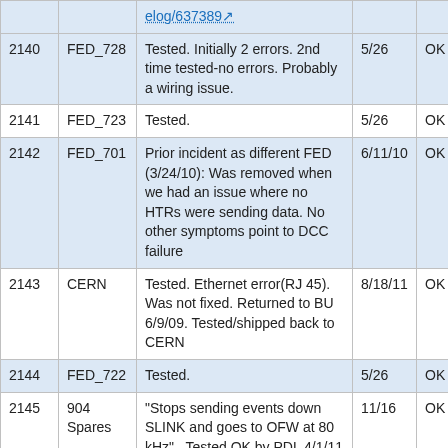|  |  |  |  |  |
| --- | --- | --- | --- | --- |
|  |  | elog/637389 |  |  |
| 2140 | FED_728 | Tested. Initially 2 errors. 2nd time tested-no errors. Probably a wiring issue. | 5/26 | OK |
| 2141 | FED_723 | Tested. | 5/26 | OK |
| 2142 | FED_701 | Prior incident as different FED (3/24/10): Was removed when we had an issue where no HTRs were sending data. No other symptoms point to DCC failure | 6/11/10 | OK |
| 2143 | CERN | Tested. Ethernet error(RJ 45). Was not fixed. Returned to BU 6/9/09. Tested/shipped back to CERN | 8/18/11 | OK |
| 2144 | FED_722 | Tested. | 5/26 | OK |
| 2145 | 904 Spares | "Stops sending events down SLINK and goes to OFW at 80 kHz" . Tested OK by PDL 4/1/11 | 11/16 | OK |